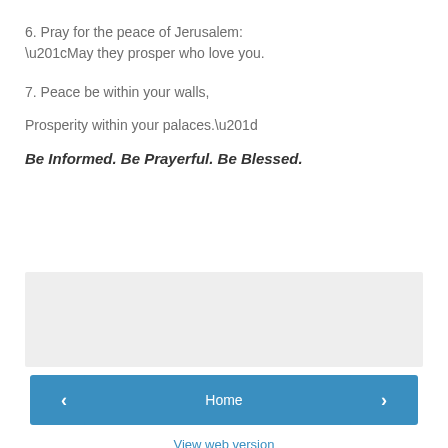6. Pray for the peace of Jerusalem:
“May they prosper who love you.
7. Peace be within your walls,
Prosperity within your palaces.”
Be Informed. Be Prayerful. Be Blessed.
[Figure (other): Gray rectangular banner/advertisement placeholder]
< Home >
View web version
Powered by Blogger.